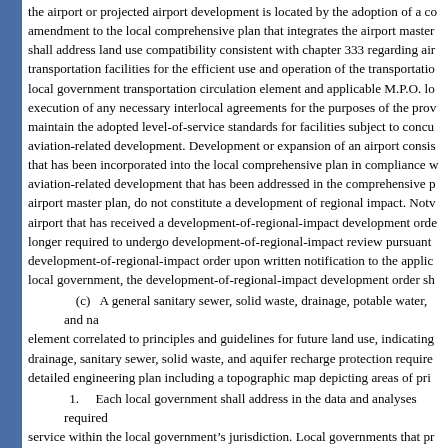the airport or projected airport development is located by the adoption of a comprehensive amendment to the local comprehensive plan that integrates the airport master plan and shall address land use compatibility consistent with chapter 333 regarding airport transportation facilities for the efficient use and operation of the transportation facility, local government transportation circulation element and applicable M.P.O. long-range plan, execution of any necessary interlocal agreements for the purposes of the provisions to maintain the adopted level-of-service standards for facilities subject to concurrency for aviation-related development. Development or expansion of an airport consistent with a plan that has been incorporated into the local comprehensive plan in compliance with this part, aviation-related development that has been addressed in the comprehensive plan and the airport master plan, do not constitute a development of regional impact. Notwithstanding, an airport that has received a development-of-regional-impact development order shall no longer required to undergo development-of-regional-impact review pursuant to an existing development-of-regional-impact order upon written notification to the applicable regional local government, the development-of-regional-impact development order shall...
(c) A general sanitary sewer, solid waste, drainage, potable water, and natural groundwater aquifer recharge element correlated to principles and guidelines for future land use, indicating the capacity of drainage, sanitary sewer, solid waste, and aquifer recharge protection requirements, not a detailed engineering plan including a topographic map depicting areas of prime recharge.
1. Each local government shall address in the data and analyses required for the service within the local government's jurisdiction. Local governments that provide services to local government jurisdictions shall also address those facilities in the data and...